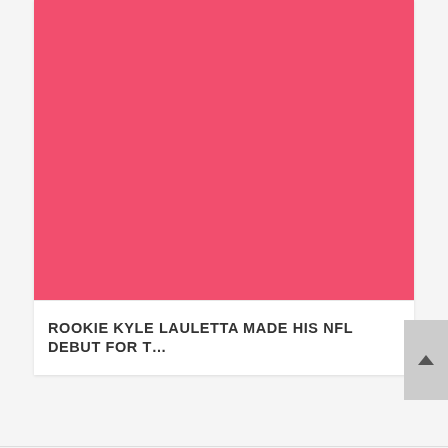[Figure (photo): Solid pink/coral colored rectangular placeholder image]
ROOKIE KYLE LAULETTA MADE HIS NFL DEBUT FOR T...